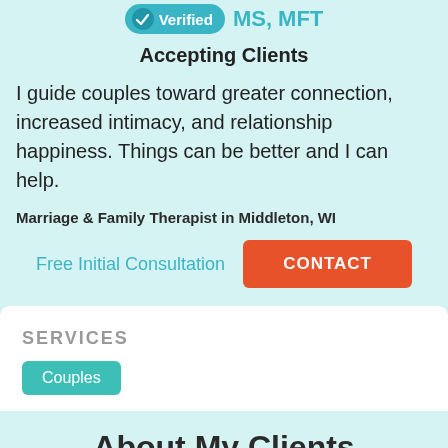Verified MS, MFT
Accepting Clients
I guide couples toward greater connection, increased intimacy, and relationship happiness. Things can be better and I can help.
Marriage & Family Therapist in Middleton, WI
Free Initial Consultation
CONTACT
SERVICES
Couples
About My Clients